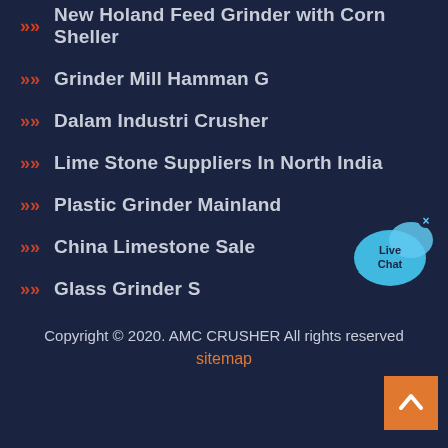New Holand Feed Grinder with Corn Sheller
Grinder Mill Hamman G
Dalam Industri Crusher
Lime Stone Suppliers In North India
Plastic Grinder Mainland
China Limestone Sale
Glass Grinder S
[Figure (illustration): Live Chat bubble icon in cyan/light blue with an X close button]
Copyright © 2020. AMC CRUSHER All rights reserved
sitemap
[Figure (illustration): Orange back-to-top button with upward chevron arrow]